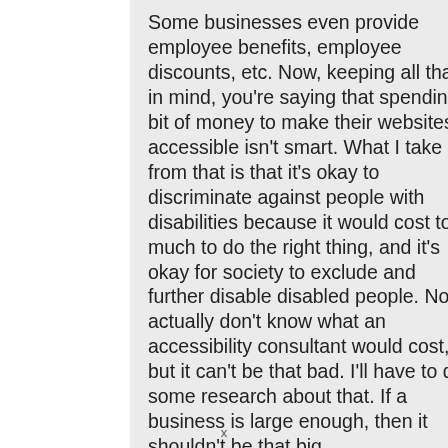Some businesses even provide employee benefits, employee discounts, etc. Now, keeping all that in mind, you're saying that spending a bit of money to make their websites accessible isn't smart. What I take from that is that it's okay to discriminate against people with disabilities because it would cost too much to do the right thing, and it's okay for society to exclude and further disable disabled people. Now I actually don't know what an accessibility consultant would cost, but it can't be that bad. I'll have to do some research about that. If a business is large enough, then it shouldn't be that big
x